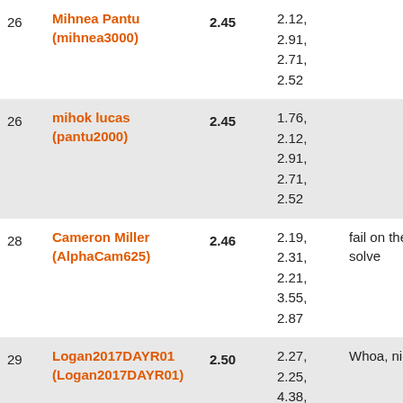| Rank | Name | Average | Solves | Notes |
| --- | --- | --- | --- | --- |
| 26 | Mihnea Pantu (mihnea3000) | 2.45 | 2.12,
2.91,
2.71,
2.52 |  |
| 26 | mihok lucas (pantu2000) | 2.45 | 1.76,
2.12,
2.91,
2.71,
2.52 |  |
| 28 | Cameron Miller (AlphaCam625) | 2.46 | 2.19,
2.31,
2.21,
3.55,
2.87 | fail on the 4th solve |
| 29 | Logan2017DAYR01 (Logan2017DAYR01) | 2.50 | 2.27,
2.25,
4.38,
1.87,
2.97 | Whoa, nice |
|  |  |  | 2.58,
2.40, |  |